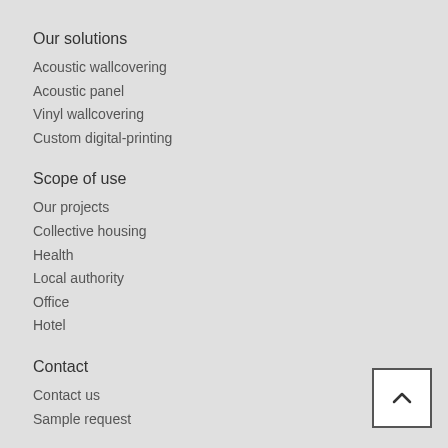Our solutions
Acoustic wallcovering
Acoustic panel
Vinyl wallcovering
Custom digital-printing
Scope of use
Our projects
Collective housing
Health
Local authority
Office
Hotel
Contact
Contact us
Sample request
Follow us
[Figure (illustration): Social media icons: LinkedIn, Pinterest, Vimeo]
[Figure (illustration): Back to top button with upward caret arrow]